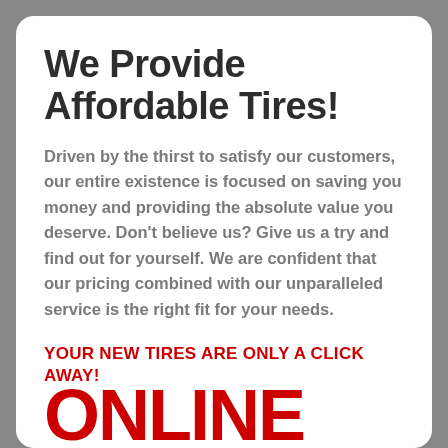We Provide Affordable Tires!
Driven by the thirst to satisfy our customers, our entire existence is focused on saving you money and providing the absolute value you deserve. Don't believe us? Give us a try and find out for yourself. We are confident that our pricing combined with our unparalleled service is the right fit for your needs.
YOUR NEW TIRES ARE ONLY A CLICK AWAY!
[Figure (logo): ONLINE logo text in bold red letters at the bottom of the card]